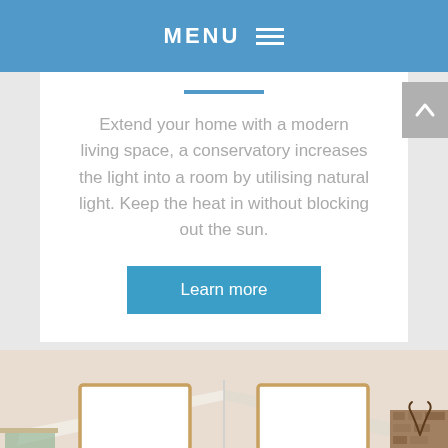MENU
Extend your home with a modern living space, a conservatory increases the light into a room by utilising natural light. Keep the heat in without blocking out the sun.
Learn more
[Figure (photo): Interior room with vaulted ceiling featuring two large skylights letting in natural light, a clock on the wall, wooden flooring, and a stone-brick accent wall with a deer antler mount on the right.]